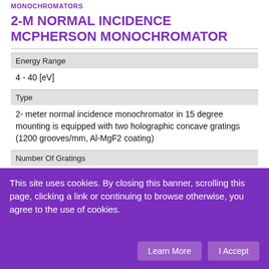MONOCHROMATORS
2-M NORMAL INCIDENCE MCPHERSON MONOCHROMATOR
| Energy Range |  |
| 4 - 40 [eV] |  |
| Type |  |
| 2- meter normal incidence monochromator in 15 degree mounting is equipped with two holographic concave gratings (1200 grooves/mm, Al-MgF2 coating) |  |
| Number Of Gratings |  |
| 2 |  |
| Grating Type |  |
| Al optical grating, 1200 l/mm for 65-330 nm region |  |
This site uses cookies. By closing this banner, scrolling this page, clicking a link or continuing to browse otherwise, you agree to the use of cookies.